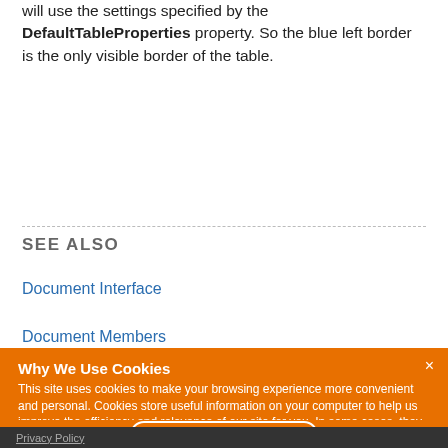will use the settings specified by the DefaultTableProperties property. So the blue left border is the only visible border of the table.
SEE ALSO
Document Interface
Document Members
[Figure (screenshot): Cookie consent banner with orange background. Title: 'Why We Use Cookies'. Body text about cookie usage and consent. 'I UNDERSTAND' button. Close X button in top right.]
Privacy Policy